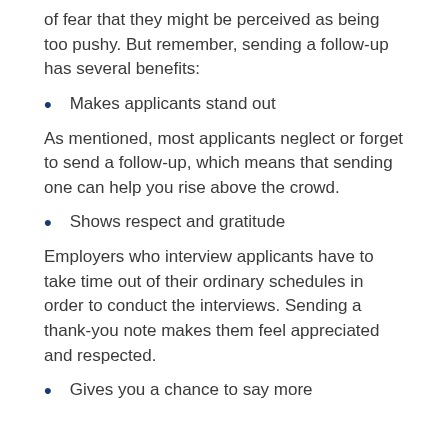of fear that they might be perceived as being too pushy. But remember, sending a follow-up has several benefits:
Makes applicants stand out
As mentioned, most applicants neglect or forget to send a follow-up, which means that sending one can help you rise above the crowd.
Shows respect and gratitude
Employers who interview applicants have to take time out of their ordinary schedules in order to conduct the interviews. Sending a thank-you note makes them feel appreciated and respected.
Gives you a chance to say more